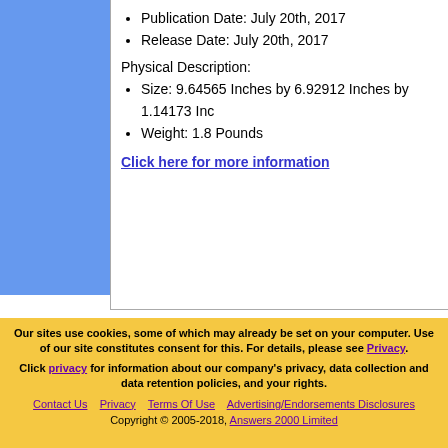Publication Date: July 20th, 2017
Release Date: July 20th, 2017
Physical Description:
Size: 9.64565 Inches by 6.92912 Inches by 1.14173 Inc
Weight: 1.8 Pounds
Click here for more information
Our sites use cookies, some of which may already be set on your computer. Use of our site constitutes consent for this. For details, please see Privacy.
Click privacy for information about our company's privacy, data collection and data retention policies, and your rights.
Contact Us  Privacy  Terms Of Use  Advertising/Endorsements Disclosures  Copyright © 2005-2018, Answers 2000 Limited